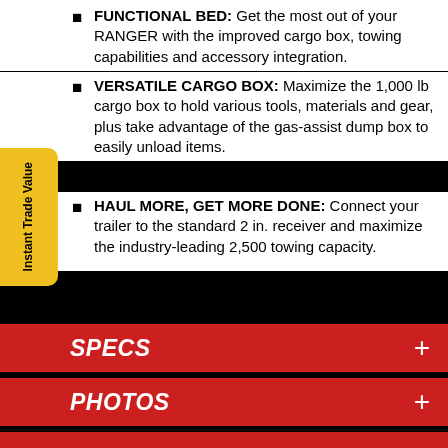FUNCTIONAL BED: Get the most out of your RANGER with the improved cargo box, towing capabilities and accessory integration.
VERSATILE CARGO BOX: Maximize the 1,000 lb cargo box to hold various tools, materials and gear, plus take advantage of the gas-assist dump box to easily unload items.
HAUL MORE, GET MORE DONE: Connect your trailer to the standard 2 in. receiver and maximize the industry-leading 2,500 towing capacity.
SPECS
PHOTOS
PROMOTIONS
Warning: The Polaris RANGER® can be hazardous to operate and is not intended for on-road use. Driver must be at least 16 years old with a valid driver's license to operate. Passengers must be at le...